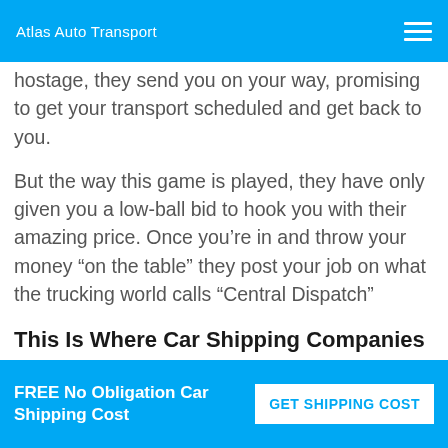Atlas Auto Transport
hostage, they send you on your way, promising to get your transport scheduled and get back to you.
But the way this game is played, they have only given you a low-ball bid to hook you with their amazing price. Once you’re in and throw your money “on the table” they post your job on what the trucking world calls “Central Dispatch”
This Is Where Car Shipping Companies And
FREE No Obligation Car Shipping Cost   GET SHIPPING COST